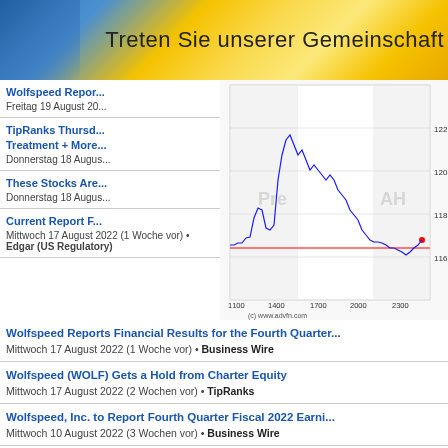Treten Sie unserer Gemeinschaft bei
Wolfspeed Repor...
Freitag 19 August 20...
TipRanks Thursday... Treatment + More...
Donnerstag 18 August...
[Figure (continuous-plot): Intraday stock price chart showing price movements from 1100 to 2300+, with Pre and AH (after-hours) shaded regions. Price range approximately 116-122. A red horizontal line at about 116.5. Blue line chart. Copyright www.advfn.com]
These Stocks Are...
Donnerstag 18 August...
Current Report F...
Mittwoch 17 August 2022 (1 Woche vor) • Edgar (US Regulatory)
Wolfspeed Reports Financial Results for the Fourth Quarter...
Mittwoch 17 August 2022 (1 Woche vor) • Business Wire
Wolfspeed (WOLF) Gets a Hold from Charter Equity
Mittwoch 17 August 2022 (2 Wochen vor) • TipRanks
Wolfspeed, Inc. to Report Fourth Quarter Fiscal 2022 Earni...
Mittwoch 10 August 2022 (3 Wochen vor) • Business Wire
Statement of Changes in Beneficial Ownership (4)
Mittwoch 3 August 2022 (4 Wo...